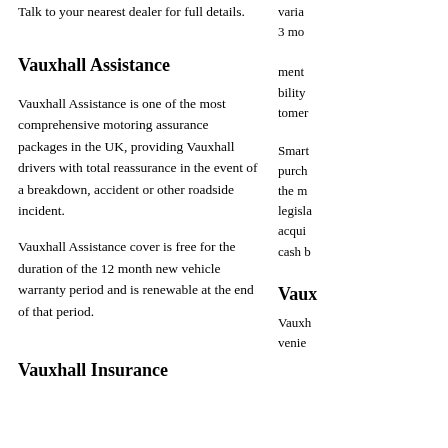Talk to your nearest dealer for full details.
Vauxhall Assistance
Vauxhall Assistance is one of the most comprehensive motoring assurance packages in the UK, providing Vauxhall drivers with total reassurance in the event of a breakdown, accident or other roadside incident.
Vauxhall Assistance cover is free for the duration of the 12 month new vehicle warranty period and is renewable at the end of that period.
Vauxhall Insurance
varia 3 mo ment bility tomer
Smart purch the m legisla acqui cash b
Vaux
Vauxh venie